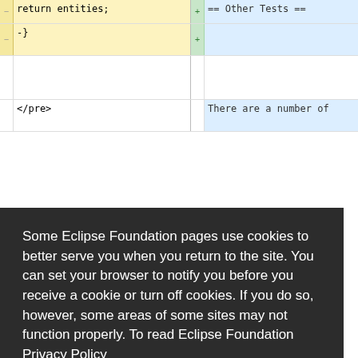[Figure (screenshot): Diff view showing code comparison. Left column (yellow background) shows removed lines including 'return entities;' and '-}'. Right column (blue background) shows added lines including '== Other Tests =='. Bottom row shows '</pre>' on left and 'There are a number of' on right.]
Some Eclipse Foundation pages use cookies to better serve you when you return to the site. You can set your browser to notify you before you receive a cookie or turn off cookies. If you do so, however, some areas of some sites may not function properly. To read Eclipse Foundation Privacy Policy click here.